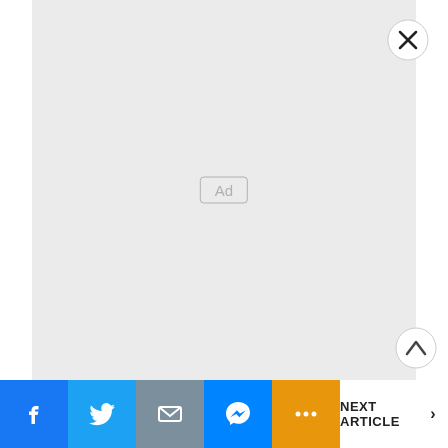[Figure (other): Advertisement placeholder area with light gray background and 'Ad' label in center]
[Figure (other): Close button (X in circle) in top-right corner of ad area]
[Figure (other): Scroll-to-top button (chevron up in circle) bottom right]
[Figure (other): Bottom social share bar with Facebook, Twitter, Mail, Messenger, More buttons and Next Article link]